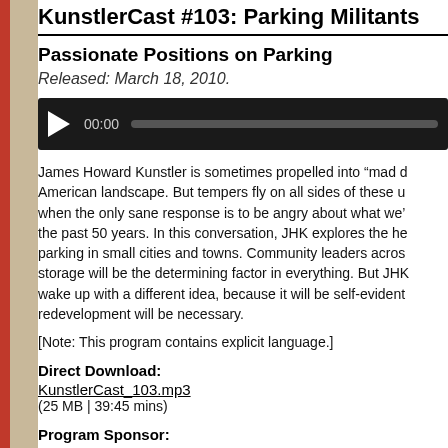KunstlerCast #103: Parking Militants...
Passionate Positions on Parking
Released: March 18, 2010.
[Figure (other): Audio player widget with play button, time display 00:00, and progress bar]
James Howard Kunstler is sometimes propelled into “mad d... American landscape. But tempers fly on all sides of these u... when the only sane response is to be angry about what we’... the past 50 years. In this conversation, JHK explores the he... parking in small cities and towns. Community leaders acros... storage will be the determining factor in everything. But JHK... wake up with a different idea, because it will be self-evident... redevelopment will be necessary.
[Note: This program contains explicit language.]
Direct Download:
KunstlerCast_103.mp3
(25 MB | 39:45 mins)
Program Sponsor: